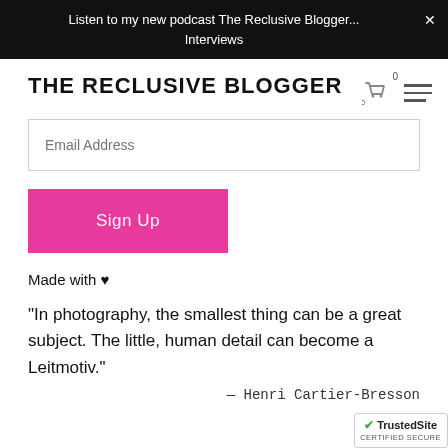Listen to my new podcast The Reclusive Blogger... Interviews
THE RECLUSIVE BLOGGER
Email Address
Sign Up
Made with ♥
"In photography, the smallest thing can be a great subject. The little, human detail can become a Leitmotiv."
— Henri Cartier-Bresson
[Figure (logo): TrustedSite CERTIFIED SECURE badge]